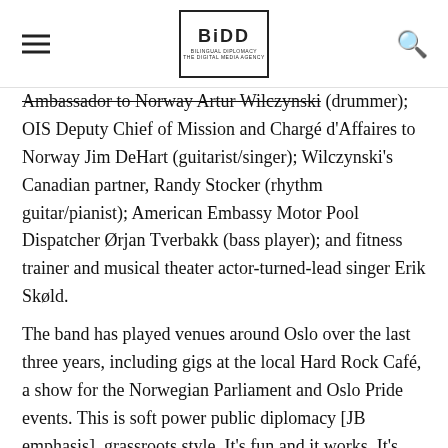BIDD — Bilingual Diplomacy
Ambassador to Norway Artur Wilczynski (drummer); OIS Deputy Chief of Mission and Chargé d'Affaires to Norway Jim DeHart (guitarist/singer); Wilczynski's Canadian partner, Randy Stocker (rhythm guitar/pianist); American Embassy Motor Pool Dispatcher Ørjan Tverbakk (bass player); and fitness trainer and musical theater actor-turned-lead singer Erik Skøld.
The band has played venues around Oslo over the last three years, including gigs at the local Hard Rock Café, a show for the Norwegian Parliament and Oslo Pride events. This is soft power public diplomacy [JB emphasis], grassroots style. It's fun and it works. It's also a rare note of harmony in a Washington political climate brimming with divisiveness and rancor. To learn more about this motley crew of musicians, friend of the band and former diplomat Shawn Dorman interviewed Diplomatic Immunity during a recent visit to Oslo.